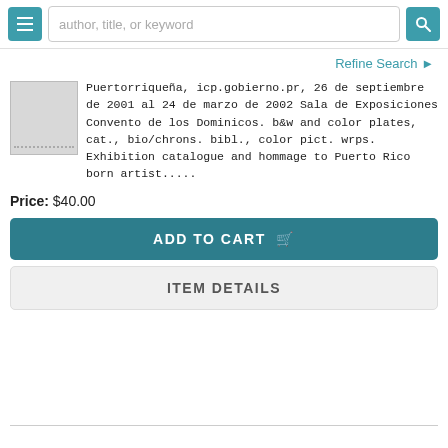[Figure (screenshot): Top navigation bar with hamburger menu button, search field with placeholder 'author, title, or keyword', and search button]
Refine Search ❯
[Figure (photo): Thumbnail image placeholder (gray box with dotted lines)]
Puertorriqueña, icp.gobierno.pr, 26 de septiembre de 2001 al 24 de marzo de 2002 Sala de Exposiciones Convento de los Dominicos. b&w and color plates, cat., bio/chrons. bibl., color pict. wrps. Exhibition catalogue and hommage to Puerto Rico born artist.....
Price: $40.00
ADD TO CART 🛒
ITEM DETAILS